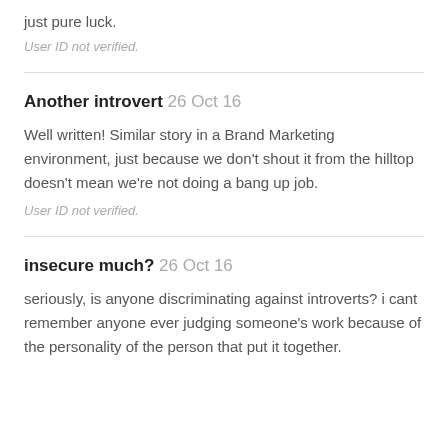just pure luck.
User ID not verified.
Another introvert 26 Oct 16
Well written! Similar story in a Brand Marketing environment, just because we don't shout it from the hilltop doesn't mean we're not doing a bang up job.
User ID not verified.
insecure much? 26 Oct 16
seriously, is anyone discriminating against introverts? i cant remember anyone ever judging someone's work because of the personality of the person that put it together.